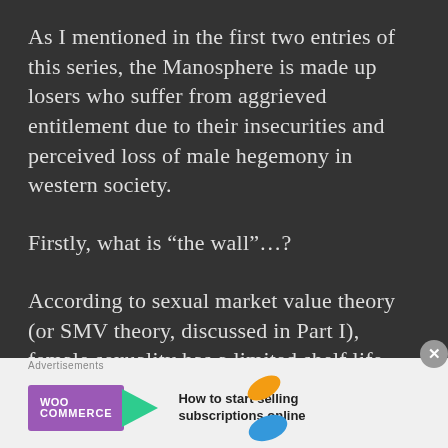As I mentioned in the first two entries of this series, the Manosphere is made up losers who suffer from aggrieved entitlement due to their insecurities and perceived loss of male hegemony in western society.
Firstly, what is “the wall”…?
According to sexual market value theory (or SMV theory, discussed in Part I), female sexuality has a limited shelf life.
A woman who is 25 years old or older is generally
[Figure (screenshot): WooCommerce advertisement banner with purple WooCommerce logo and arrow, tagline 'How to start selling subscriptions online', decorative orange and blue shapes on right side]
Advertisements